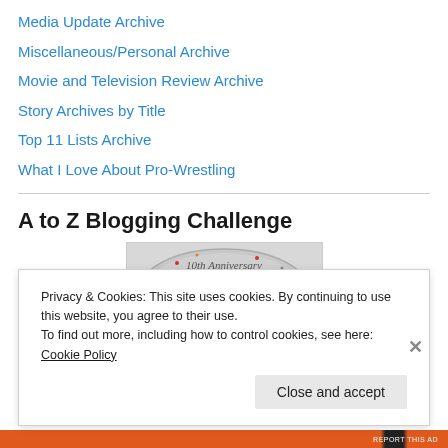Media Update Archive
Miscellaneous/Personal Archive
Movie and Television Review Archive
Story Archives by Title
Top 11 Lists Archive
What I Love About Pro-Wrestling
A to Z Blogging Challenge
[Figure (logo): A to Z Blogging Challenge 10th Anniversary logo with large red A and orange 7 on a circular metallic background with cursive '10th Anniversary' text]
Privacy & Cookies: This site uses cookies. By continuing to use this website, you agree to their use.
To find out more, including how to control cookies, see here: Cookie Policy
Close and accept